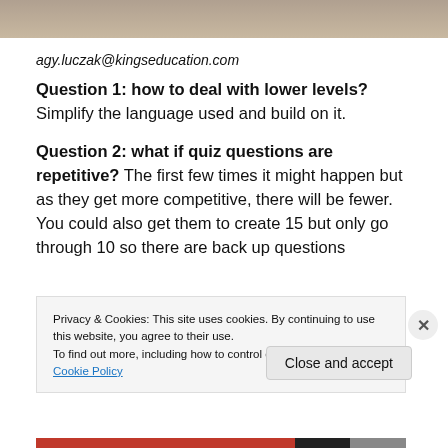[Figure (photo): Top portion of an image, appearing to show a textured brownish surface, cropped at top of page]
agy.luczak@kingseducation.com
Question 1: how to deal with lower levels? Simplify the language used and build on it.
Question 2: what if quiz questions are repetitive? The first few times it might happen but as they get more competitive, there will be fewer. You could also get them to create 15 but only go through 10 so there are back up questions
Privacy & Cookies: This site uses cookies. By continuing to use this website, you agree to their use.
To find out more, including how to control cookies, see here: Cookie Policy